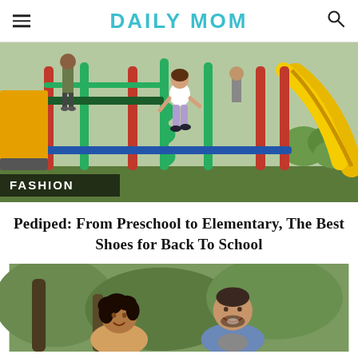DAILY MOM
[Figure (photo): Children playing on a colorful playground structure with red, green and yellow elements. A girl in white shirt and purple pants is climbing. FASHION label overlay at bottom left.]
Pediped: From Preschool to Elementary, The Best Shoes for Back To School
[Figure (photo): A man and woman outdoors, smiling and talking. The woman has curly hair and the man is wearing a denim shirt.]